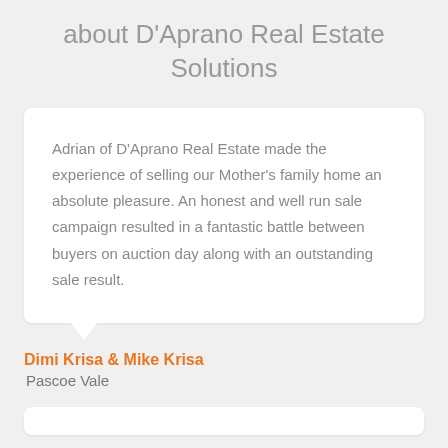about D'Aprano Real Estate Solutions
Adrian of D'Aprano Real Estate made the experience of selling our Mother's family home an absolute pleasure. An honest and well run sale campaign resulted in a fantastic battle between buyers on auction day along with an outstanding sale result.
Dimi Krisa & Mike Krisa
Pascoe Vale